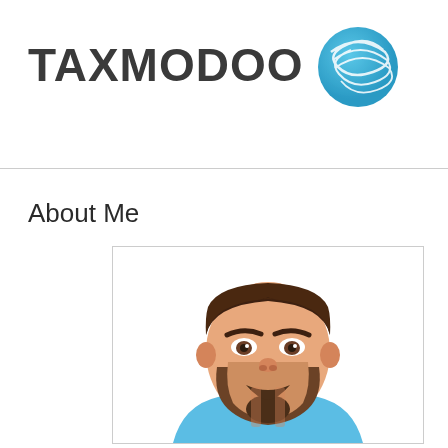[Figure (logo): TAXMODOO logo with stylized blue globe/sphere icon to the right of the text]
About Me
[Figure (illustration): Cartoon/illustrated avatar of a man with dark hair, beard, and blue t-shirt on white background inside a bordered box]